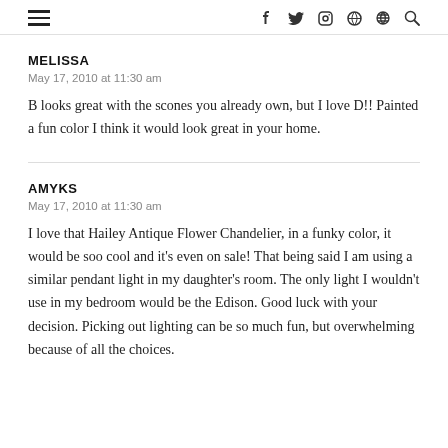≡  f  twitter  instagram  pinterest  rss  search
MELISSA
May 17, 2010 at 11:30 am
B looks great with the scones you already own, but I love D!! Painted a fun color I think it would look great in your home.
AMYKS
May 17, 2010 at 11:30 am
I love that Hailey Antique Flower Chandelier, in a funky color, it would be soo cool and it's even on sale! That being said I am using a similar pendant light in my daughter's room. The only light I wouldn't use in my bedroom would be the Edison. Good luck with your decision. Picking out lighting can be so much fun, but overwhelming because of all the choices.